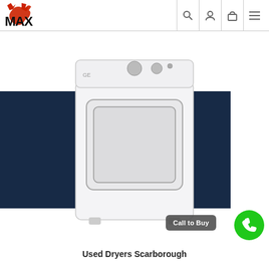[Figure (logo): Max Appliances logo with red wrench/fist graphic and bold MAX text]
[Figure (photo): White GE top-load dryer appliance displayed against a dark navy blue rectangular background, with a 'Call to Buy' button and green phone button overlay]
Used Dryers Scarborough